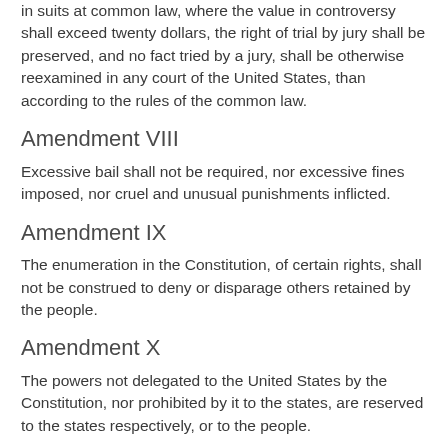in suits at common law, where the value in controversy shall exceed twenty dollars, the right of trial by jury shall be preserved, and no fact tried by a jury, shall be otherwise reexamined in any court of the United States, than according to the rules of the common law.
Amendment VIII
Excessive bail shall not be required, nor excessive fines imposed, nor cruel and unusual punishments inflicted.
Amendment IX
The enumeration in the Constitution, of certain rights, shall not be construed to deny or disparage others retained by the people.
Amendment X
The powers not delegated to the United States by the Constitution, nor prohibited by it to the states, are reserved to the states respectively, or to the people.